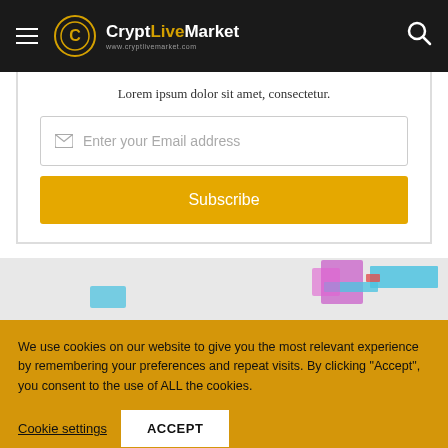CryptLiveMarket www.cryptlivemarket.com
Lorem ipsum dolor sit amet, consectetur.
Enter your Email address
Subscribe
[Figure (screenshot): Partially visible blurred content/advertisement below the subscribe form]
We use cookies on our website to give you the most relevant experience by remembering your preferences and repeat visits. By clicking “Accept”, you consent to the use of ALL the cookies.
Cookie settings
ACCEPT